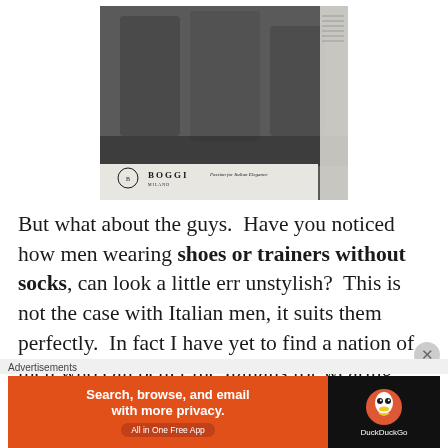[Figure (photo): A newspaper advertisement photo showing men sitting, legs visible, wearing shoes without socks. The BOGGI Milano brand logo and tagline 'Passion for Italian Elegance' appear at the bottom of the ad. A narrow text column appears on the right side.]
But what about the guys.  Have you noticed how men wearing shoes or trainers without socks, can look a little err unstylish?  This is not the case with Italian men, it suits them perfectly.  In fact I have yet to find a nation of men who can better the Italians for wearing their clothes well.  I recently read an article which declared the results
Advertisements
[Figure (screenshot): DuckDuckGo advertisement banner. Orange left section reads 'Search, browse, and email with more privacy. All in One Free App'. Dark right section shows the DuckDuckGo duck logo and brand name.]